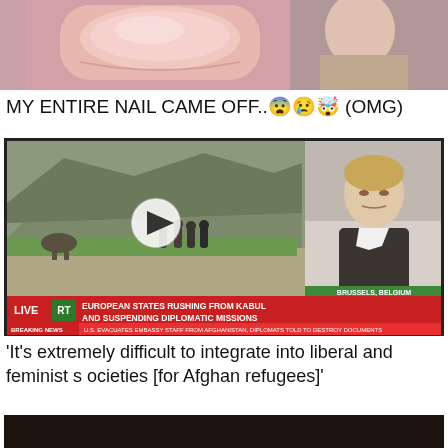[Figure (photo): Close-up photo of a person's hand/finger with a nail, partially visible, purple/pink tones]
MY ENTIRE NAIL CAME OFF..😨😢🤯 (OMG)
[Figure (screenshot): RT news broadcast screenshot showing people walking in Afghanistan landscape with a man being interviewed from Brussels, Belgium. Chyron reads: LIVE RT EUROPEAN STATES RUSHING FROM KABUL AND SUSPENDING DIPLOMATIC MISSIONS. Breaking News: U.S. EVACUATES EMBASSY STAFF FROM AFGHANISTAN, DIPLOMATS TOLD TO DESTROY DOCUMENTS. Play button overlay visible.]
'It's extremely difficult to integrate into liberal and feminist societies [for Afghan refugees]'
[Figure (photo): Dark image, partially visible at bottom of page]